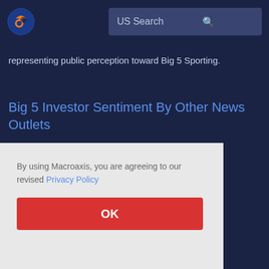US Search
representing public perception toward Big 5 Sporting.
Big 5 Investor Sentiment By Other News Outlets
By using Macroaxis, you are agreeing to our revised Privacy Policy
OK